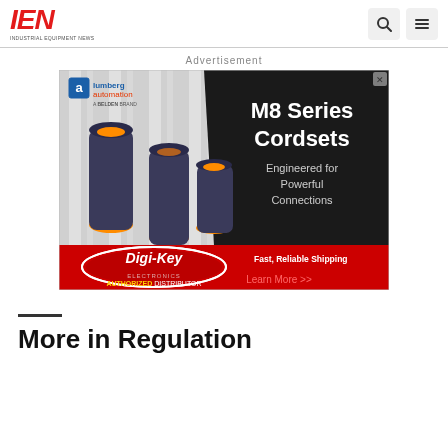IEN — Industrial Equipment News
Advertisement
[Figure (illustration): Lumberg Automation M8 Series Cordsets advertisement banner. Left side shows cables with orange connectors on a gray/white striped background. Right dark section says 'M8 Series Cordsets Engineered for Powerful Connections'. Bottom red stripe shows Digi-Key Electronics logo with 'Fast, Reliable Shipping' and 'Learn More >>' in red text. Bottom left says 'AUTHORIZED DISTRIBUTOR'.]
More in Regulation